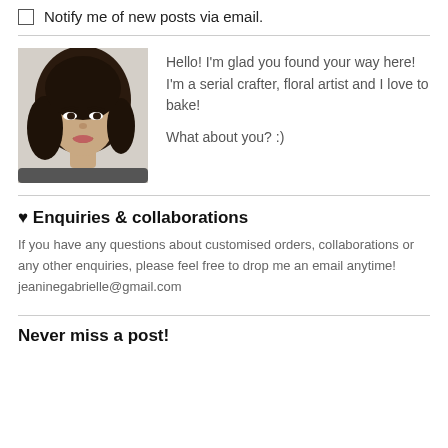Notify me of new posts via email.
[Figure (photo): Portrait photo of a young Asian woman with long dark hair, smiling, taken from slightly above, light background]
Hello! I'm glad you found your way here! I'm a serial crafter, floral artist and I love to bake!

What about you? :)
♥ Enquiries & collaborations
If you have any questions about customised orders, collaborations or any other enquiries, please feel free to drop me an email anytime! jeaninegabrielle@gmail.com
Never miss a post!